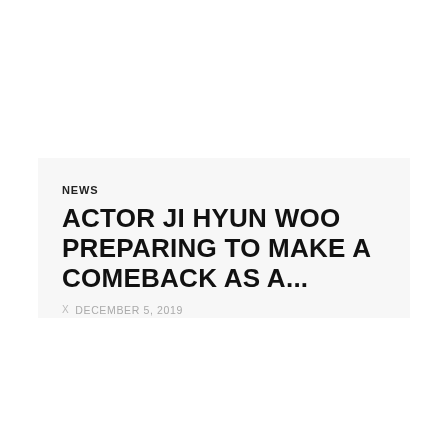NEWS
ACTOR JI HYUN WOO PREPARING TO MAKE A COMEBACK AS A...
x  DECEMBER 5, 2019